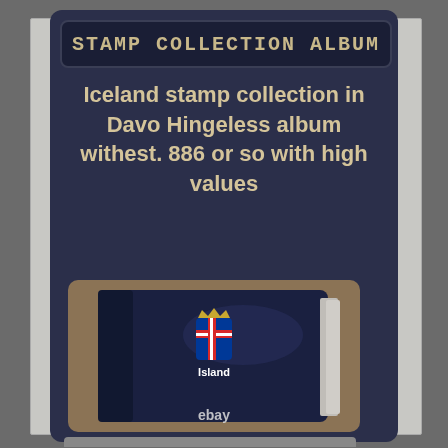STAMP COLLECTION ALBUM
Iceland stamp collection in Davo Hingeless album withest. 886 or so with high values
[Figure (photo): Photo of a dark blue Davo stamp album cover with the Icelandic coat of arms and the word 'Island' on it, with 'ebay' watermark at the bottom.]